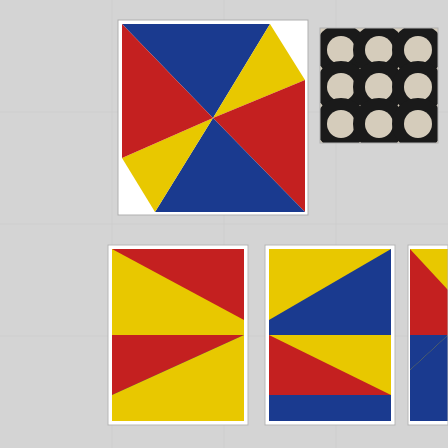[Figure (illustration): Gallery wall installation showing five geometric abstract paintings. Top left: a large square canvas with a pinwheel/star pattern in primary colors (blue, yellow, red) radiating from center. Top right: a square canvas with black and white interlocking circles/rings op-art pattern on cream background. Bottom row: three smaller vertical canvases each showing horizontal band compositions with triangular geometric shapes in blue, yellow, and red primary colors, arranged in different orientations.]